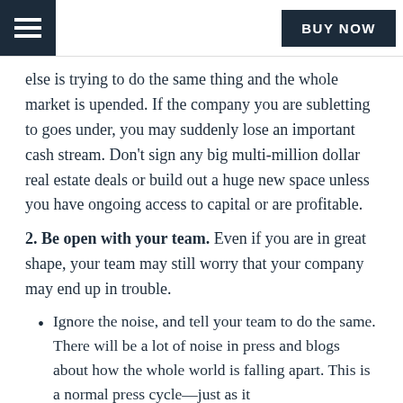BUY NOW
else is trying to do the same thing and the whole market is upended. If the company you are subletting to goes under, you may suddenly lose an important cash stream. Don’t sign any big multi-million dollar real estate deals or build out a huge new space unless you have ongoing access to capital or are profitable.
2. Be open with your team. Even if you are in great shape, your team may still worry that your company may end up in trouble.
Ignore the noise, and tell your team to do the same. There will be a lot of noise in press and blogs about how the whole world is falling apart. This is a normal press cycle—just as it